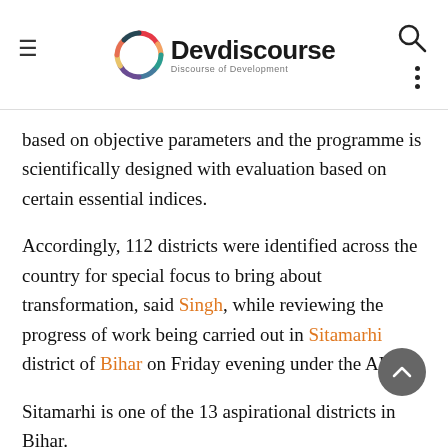Devdiscourse – Discourse of Development
based on objective parameters and the programme is scientifically designed with evaluation based on certain essential indices.
Accordingly, 112 districts were identified across the country for special focus to bring about transformation, said Singh, while reviewing the progress of work being carried out in Sitamarhi district of Bihar on Friday evening under the ADP.
Sitamarhi is one of the 13 aspirational districts in Bihar.
Singh said ADP has emerged as a shining example of competitive and cooperative federalism, where